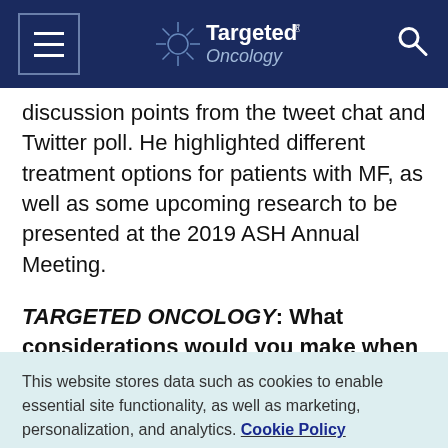Targeted Oncology
discussion points from the tweet chat and Twitter poll. He highlighted different treatment options for patients with MF, as well as some upcoming research to be presented at the 2019 ASH Annual Meeting.
TARGETED ONCOLOGY: What considerations would you make when you first approach a patient
This website stores data such as cookies to enable essential site functionality, as well as marketing, personalization, and analytics. Cookie Policy
Accept
Deny